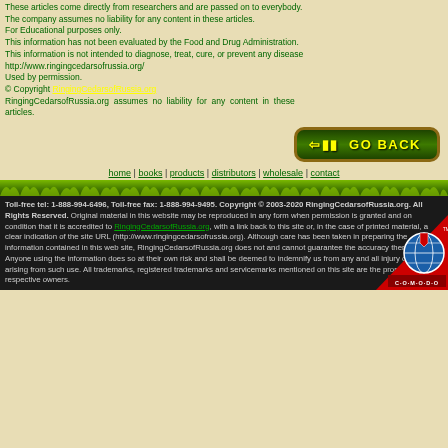These articles come directly from researchers and are passed on to everybody. The company assumes no liability for any content in these articles. For Educational purposes only. This information has not been evaluated by the Food and Drug Administration. This information is not intended to diagnose, treat, cure, or prevent any disease http://www.ringingcedarsofrussia.org/ Used by permission. © Copyright RingingCedarsofRussia.org RingingCedarsofRussia.org assumes no liability for any content in these articles.
[Figure (other): Green GO BACK button with left arrow, dark green background with yellow text]
home | books | products | distributors | wholesale | contact
[Figure (illustration): Green grass/nature decorative bar]
Toll-free tel: 1-888-994-6496, Toll-free fax: 1-888-994-9495. Copyright © 2003-2020 RingingCedarsofRussia.org. All Rights Reserved. Original material in this website may be reproduced in any form when permission is granted and on condition that it is accredited to RingingCedarsofRussia.org, with a link back to this site or, in the case of printed material, a clear indication of the site URL (http://www.ringingcedarsofrussia.org). Although care has been taken in preparing the information contained in this web site, RingingCedarsofRussia.org does not and cannot guarantee the accuracy thereof. Anyone using the information does so at their own risk and shall be deemed to indemnify us from any and all injury or damage arising from such use. All trademarks, registered trademarks and servicemarks mentioned on this site are the property of their respective owners.
[Figure (logo): Comodo Authentic and Secure badge]